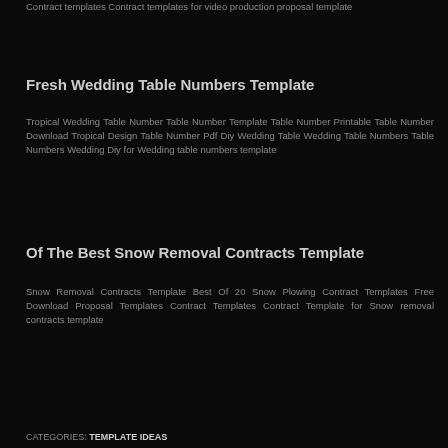Contract templates Contract templates for video production proposal template
Fresh Wedding Table Numbers Template
Tropical Wedding Table Number Table Number Template Table Number Printable Table Number Download Tropical Design Table Number Pdf Diy Wedding Table Wedding Table Numbers Table Numbers Wedding Diy for Wedding table numbers template
Of The Best Snow Removal Contracts Template
Snow Removal Contracts Template Best Of 20 Snow Plowing Contract Templates Free Download Proposal Templates Contract Templates Contract Template for Snow removal contracts template
CATEGORIES: TEMPLATE IDEAS